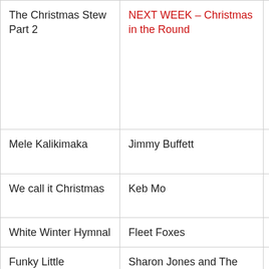| Song | Artist/Note | Album |
| --- | --- | --- |
| The Christmas Stew Part 2 | NEXT WEEK – Christmas in the Round |  |
| Mele Kalikimaka | Jimmy Buffett | Chri Islan |
| We call it Christmas | Keb Mo | The of th Holi |
| White Winter Hymnal | Fleet Foxes | Flee |
| Funky Little Drummer Boy | Sharon Jones and The Dap Kings | Holi Sou |
| Happy Holidays from Mulligan Stew | www.mulliganstew.ca |  |
|  |  |  |